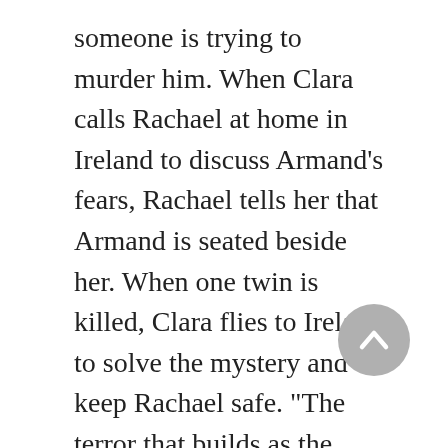someone is trying to murder him. When Clara calls Rachael at home in Ireland to discuss Armand's fears, Rachael tells her that Armand is seated beside her. When one twin is killed, Clara flies to Ireland to solve the mystery and keep Rachael safe. "The terror that builds as the killer stalks Boylan's appealing cast—all of whom, including Clara's married son and Rachael's poet grandson, are fully realized characters—will engross even the most demanding readers."